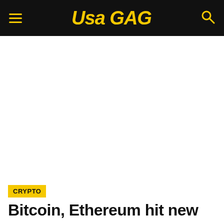USA GAG
[Figure (other): Advertisement/blank white area below header]
CRYPTO
Bitcoin, Ethereum hit new